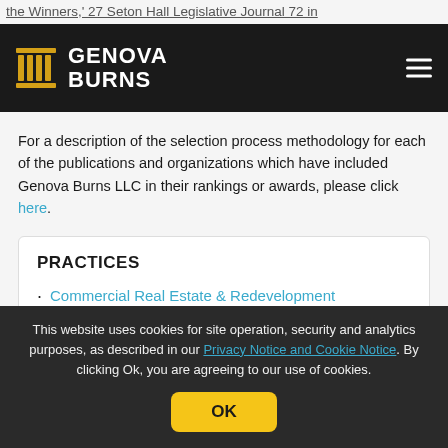the Winners,' 27 Seton Hall Legislative Journal 72 in
[Figure (logo): Genova Burns law firm logo with gold column icon and white text on dark background]
For a description of the selection process methodology for each of the publications and organizations which have included Genova Burns LLC in their rankings or awards, please click here.
PRACTICES
Commercial Real Estate & Redevelopment
Environmental Law
Land Use & Approvals
This website uses cookies for site operation, security and analytics purposes, as described in our Privacy Notice and Cookie Notice. By clicking Ok, you are agreeing to our use of cookies.